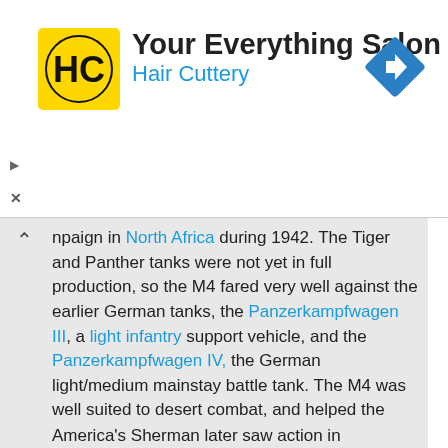[Figure (logo): Hair Cuttery advertisement banner with HC logo in yellow square, title 'Your Everything Salon', subtitle 'Hair Cuttery' in blue, and a blue diamond navigation arrow icon on the right]
npaign in North Africa during 1942. The Tiger and Panther tanks were not yet in full production, so the M4 fared very well against the earlier German tanks, the Panzerkampfwagen III, a light infantry support vehicle, and the Panzerkampfwagen IV, the German light/medium mainstay battle tank. The M4 was well suited to desert combat, and helped the allies push the axis out of North Africa.
America's Sherman later saw action in